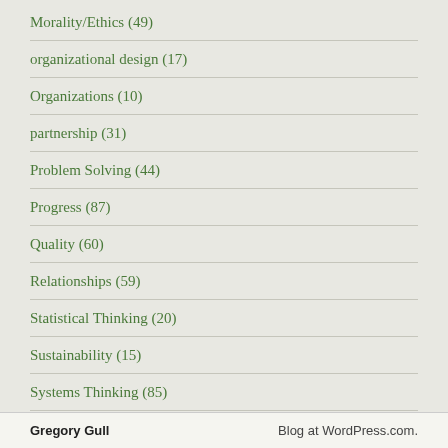Morality/Ethics (49)
organizational design (17)
Organizations (10)
partnership (31)
Problem Solving (44)
Progress (87)
Quality (60)
Relationships (59)
Statistical Thinking (20)
Sustainability (15)
Systems Thinking (85)
Uncategorized (8)
Gregory Gull    Blog at WordPress.com.